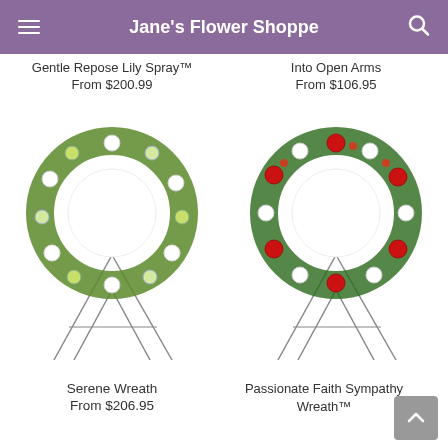Jane's Flower Shoppe
Gentle Repose Lily Spray™
From $200.99
Into Open Arms
From $106.95
[Figure (photo): Green and white floral wreath on a metal easel stand (Serene Wreath)]
[Figure (photo): Red and white floral wreath on a metal easel stand (Passionate Faith Sympathy Wreath)]
Serene Wreath
From $206.95
Passionate Faith Sympathy Wreath™